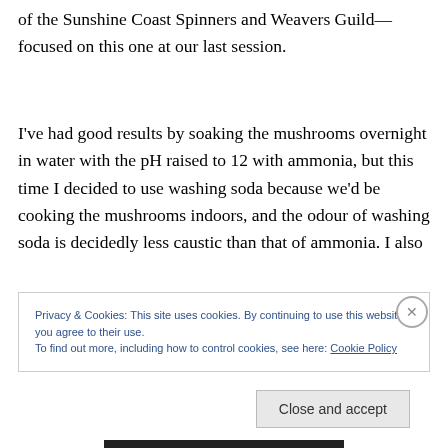of the Sunshine Coast Spinners and Weavers Guild—focused on this one at our last session.
I've had good results by soaking the mushrooms overnight in water with the pH raised to 12 with ammonia, but this time I decided to use washing soda because we'd be cooking the mushrooms indoors, and the odour of washing soda is decidedly less caustic than that of ammonia. I also
Privacy & Cookies: This site uses cookies. By continuing to use this website, you agree to their use.
To find out more, including how to control cookies, see here: Cookie Policy
Close and accept